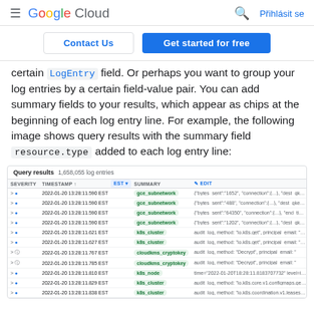Google Cloud   Přihlásit se
Contact Us   Get started for free
certain LogEntry field. Or perhaps you want to group your log entries by a certain field-value pair. You can add summary fields to your results, which appear as chips at the beginning of each log entry line. For example, the following image shows query results with the summary field resource.type added to each log entry line:
[Figure (screenshot): Screenshot of Google Cloud Logs Explorer showing Query results with 1,658,055 log entries. Table columns: SEVERITY, TIMESTAMP, EST, SUMMARY with EDIT button. Rows show log entries from 2022-01-20 with gce_subnetwork and k8s_cluster and cloudkms_cryptokey and k8s_node resource type chips in green/teal color, with associated log data snippets.]